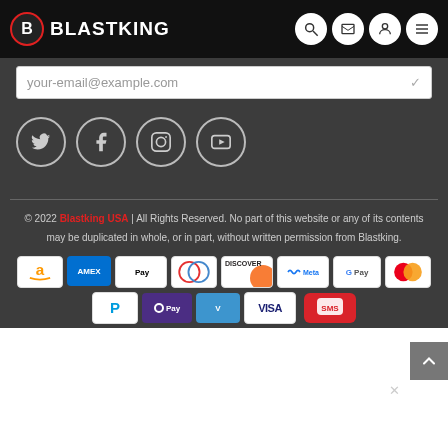[Figure (logo): Blastking logo with circular B icon and BLASTKING text in white on black header, with search, cart, user, and menu icon buttons on right]
your-email@example.com
[Figure (infographic): Four social media icon buttons in circles: Twitter, Facebook, Instagram, YouTube]
© 2022 Blastking USA | All Rights Reserved. No part of this website or any of its contents may be duplicated in whole, or in part, without written permission from Blastking.
[Figure (infographic): Payment method icons: Amazon, Amex, Apple Pay, Diners Club, Discover, Meta Pay, Google Pay, Mastercard, PayPal, OPay, Venmo, Visa, SMS button]